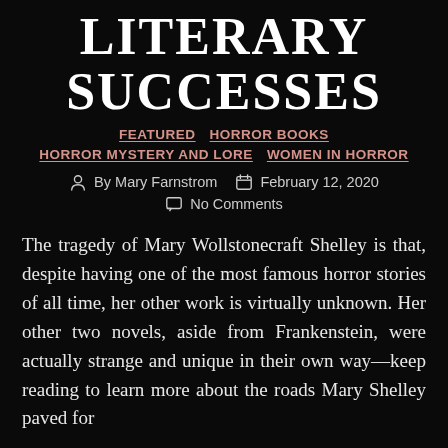LITERARY SUCCESSES
FEATURED   HORROR BOOKS   HORROR MYSTERY AND LORE   WOMEN IN HORROR
By Mary Farnstrom   February 12, 2020   No Comments
The tragedy of Mary Wollstonecraft Shelley is that, despite having one of the most famous horror stories of all time, her other work is virtually unknown. Her other two novels, aside from Frankenstein, were actually strange and unique in their own way—keep reading to learn more about the roads Mary Shelley paved for